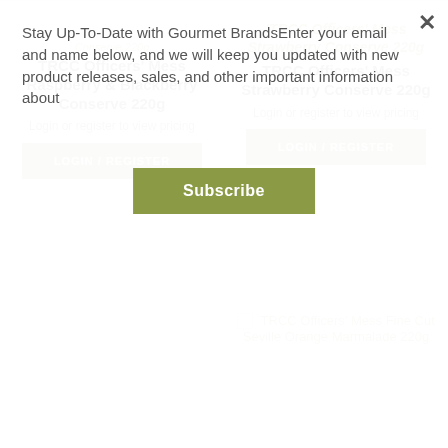Stay Up-To-Date with Gourmet BrandsEnter your email and name below, and we will keep you updated with new product releases, sales, and other important information about
Subscribe
TRCC Officers' Mess Raspberry & Blackberry Conserve 220g
Login or register to view pricing
LOGIN / REGISTER
'TRCC Officers' Mess Strawberry Conserve 220g
Login or register to view pricing
LOGIN / REGISTER
TRCC Officers' Mess Fine Cut Seville Orange Marmalade 220g